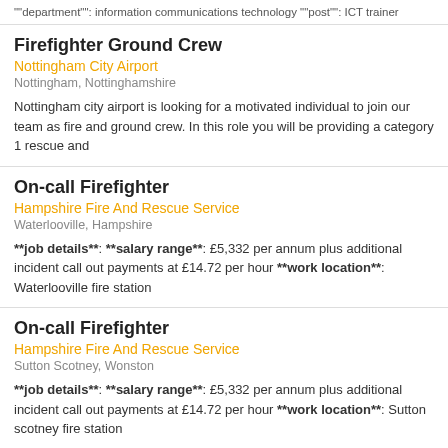""department"": information communications technology ""post"": ICT trainer
Firefighter Ground Crew
Nottingham City Airport
Nottingham, Nottinghamshire
Nottingham city airport is looking for a motivated individual to join our team as fire and ground crew. In this role you will be providing a category 1 rescue and
On-call Firefighter
Hampshire Fire And Rescue Service
Waterlooville, Hampshire
**job details**: **salary range**: £5,332 per annum plus additional incident call out payments at £14.72 per hour **work location**: Waterlooville fire station
On-call Firefighter
Hampshire Fire And Rescue Service
Sutton Scotney, Wonston
**job details**: **salary range**: £5,332 per annum plus additional incident call out payments at £14.72 per hour **work location**: Sutton scotney fire station
Page 1 of 6